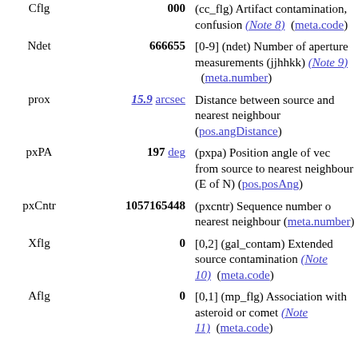| Name | Value | Description |
| --- | --- | --- |
| Cflg | 000 | (cc_flg) Artifact contamination, confusion (Note 8) (meta.code) |
| Ndet | 666655 | [0-9] (ndet) Number of aperture measurements (jjhhkk) (Note 9) (meta.number) |
| prox | 15.9 arcsec | Distance between source and nearest neighbour (pos.angDistance) |
| pxPA | 197 deg | (pxpa) Position angle of vector from source to nearest neighbour (E of N) (pos.posAng) |
| pxCntr | 1057165448 | (pxcntr) Sequence number of nearest neighbour (meta.number) |
| Xflg | 0 | [0,2] (gal_contam) Extended source contamination (Note 10) (meta.code) |
| Aflg | 0 | [0,1] (mp_flg) Association with asteroid or comet (Note 11) (meta.code) |